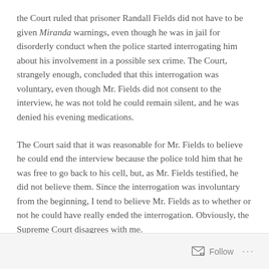the Court ruled that prisoner Randall Fields did not have to be given Miranda warnings, even though he was in jail for disorderly conduct when the police started interrogating him about his involvement in a possible sex crime. The Court, strangely enough, concluded that this interrogation was voluntary, even though Mr. Fields did not consent to the interview, he was not told he could remain silent, and he was denied his evening medications.
The Court said that it was reasonable for Mr. Fields to believe he could end the interview because the police told him that he was free to go back to his cell, but, as Mr. Fields testified, he did not believe them. Since the interrogation was involuntary from the beginning, I tend to believe Mr. Fields as to whether or not he could have really ended the interrogation. Obviously, the Supreme Court disagrees with me.
Follow